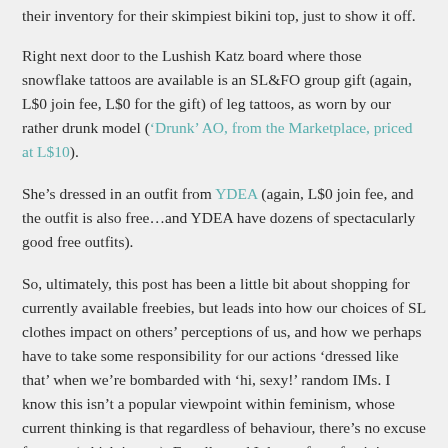their inventory for their skimpiest bikini top, just to show it off.
Right next door to the Lushish Katz board where those snowflake tattoos are available is an SL&FO group gift (again, L$0 join fee, L$0 for the gift) of leg tattoos, as worn by our rather drunk model ('Drunk' AO, from the Marketplace, priced at L$10).
She's dressed in an outfit from YDEA (again, L$0 join fee, and the outfit is also free…and YDEA have dozens of spectacularly good free outfits).
So, ultimately, this post has been a little bit about shopping for currently available freebies, but leads into how our choices of SL clothes impact on others' perceptions of us, and how we perhaps have to take some responsibility for our actions 'dressed like that' when we're bombarded with 'hi, sexy!' random IMs. I know this isn't a popular viewpoint within feminism, whose current thinking is that regardless of behaviour, there's no excuse for rape (which is true). Equally, and I depart from feminist wisdom in this regard, I think young women continue to endanger themselves by getting insensibly drunk, too drunk to consider the consequences. The clothes aren't the issue, the consumption of alcohol is usually the defining element here.